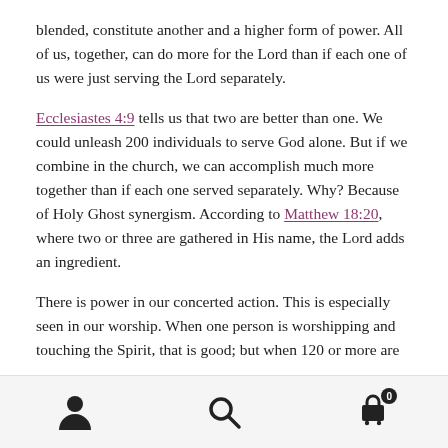blended, constitute another and a higher form of power. All of us, together, can do more for the Lord than if each one of us were just serving the Lord separately.
Ecclesiastes 4:9 tells us that two are better than one. We could unleash 200 individuals to serve God alone. But if we combine in the church, we can accomplish much more together than if each one served separately. Why? Because of Holy Ghost synergism. According to Matthew 18:20, where two or three are gathered in His name, the Lord adds an ingredient.
There is power in our concerted action. This is especially seen in our worship. When one person is worshipping and touching the Spirit, that is good; but when 120 or more are
[Figure (other): Bottom navigation bar with user profile icon, search icon, and shopping cart icon with badge showing 0]